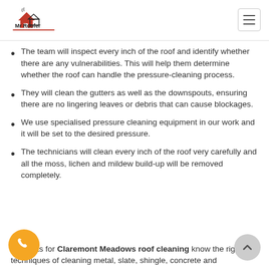[Figure (logo): Mr Roofer logo with house/roof graphic in red and black, company name underneath]
The team will inspect every inch of the roof and identify whether there are any vulnerabilities. This will help them determine whether the roof can handle the pressure-cleaning process.
They will clean the gutters as well as the downspouts, ensuring there are no lingering leaves or debris that can cause blockages.
We use specialised pressure cleaning equipment in our work and it will be set to the desired pressure.
The technicians will clean every inch of the roof very carefully and all the moss, lichen and mildew build-up will be removed completely.
…cialists for Claremont Meadows roof cleaning know the right techniques of cleaning metal, slate, shingle, concrete and